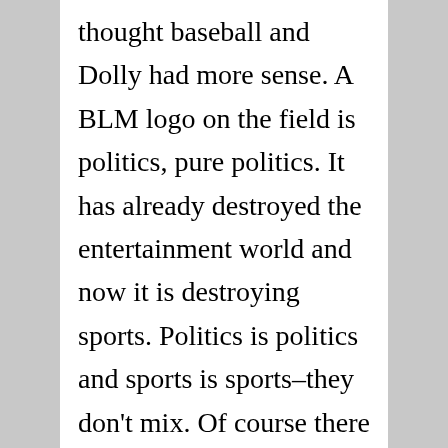thought baseball and Dolly had more sense. A BLM logo on the field is politics, pure politics. It has already destroyed the entertainment world and now it is destroying sports. Politics is politics and sports is sports–they don't mix. Of course there are two standards: one for Republicans and one for democrats. Republicans are not to carry politics into church: